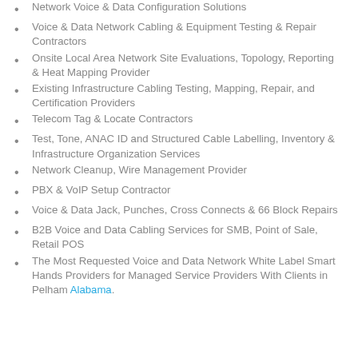Network Voice & Data Configuration Solutions
Voice & Data Network Cabling & Equipment Testing & Repair Contractors
Onsite Local Area Network Site Evaluations, Topology, Reporting & Heat Mapping Provider
Existing Infrastructure Cabling Testing, Mapping, Repair, and Certification Providers
Telecom Tag & Locate Contractors
Test, Tone, ANAC ID and Structured Cable Labelling, Inventory & Infrastructure Organization Services
Network Cleanup, Wire Management Provider
PBX & VoIP Setup Contractor
Voice & Data Jack, Punches, Cross Connects & 66 Block Repairs
B2B Voice and Data Cabling Services for SMB, Point of Sale, Retail POS
The Most Requested Voice and Data Network White Label Smart Hands Providers for Managed Service Providers With Clients in Pelham Alabama.